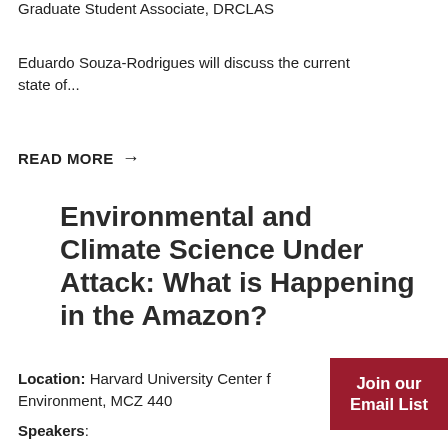Graduate Student Associate, DRCLAS
Eduardo Souza-Rodrigues will discuss the current state of...
READ MORE →
Environmental and Climate Science Under Attack: What is Happening in the Amazon?
Location: Harvard University Center for the Environment, MCZ 440
Speakers:
Join our Email List